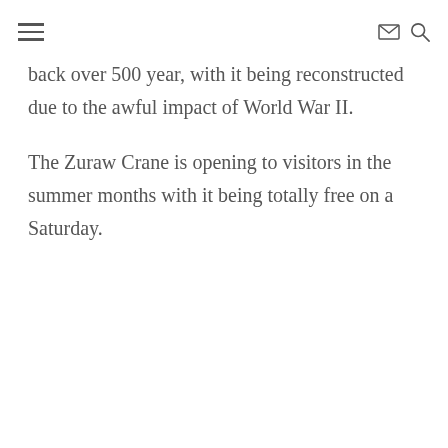≡  ✉ 🔍
back over 500 year, with it being reconstructed due to the awful impact of World War II.
The Zuraw Crane is opening to visitors in the summer months with it being totally free on a Saturday.